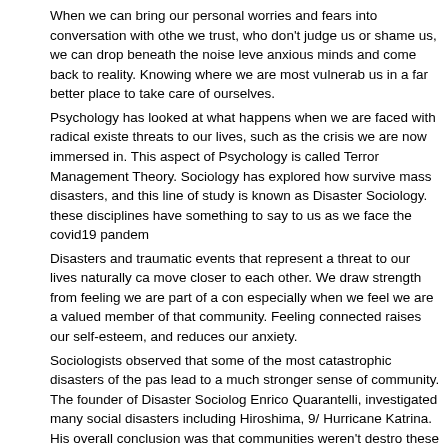When we can bring our personal worries and fears into conversation with others we trust, who don't judge us or shame us, we can drop beneath the noise level of anxious minds and come back to reality. Knowing where we are most vulnerable puts us in a far better place to take care of ourselves.
Psychology has looked at what happens when we are faced with radical existential threats to our lives, such as the crisis we are now immersed in. This aspect of Psychology is called Terror Management Theory. Sociology has explored how communities survive mass disasters, and this line of study is known as Disaster Sociology. Both these disciplines have something to say to us as we face the covid19 pandemic.
Disasters and traumatic events that represent a threat to our lives naturally cause us to move closer to each other. We draw strength from feeling we are part of a community, especially when we feel we are a valued member of that community. Feeling connected raises our self-esteem, and reduces our anxiety.
Sociologists observed that some of the most catastrophic disasters of the past century lead to a much stronger sense of community. The founder of Disaster Sociology, Enrico Quarantelli, investigated many social disasters including Hiroshima, 9/11 and Hurricane Katrina. His overall conclusion was that communities weren't destroyed by these calamities, but rather they pulled together in remarkable ways. Here's what he wrote about Hiroshima:
Within MINUTES of the Hiroshima nuclear blast, survivors engaged in search and rescue, helped one another in whatever ways they could. Within ONE DAY the power company restored power to most areas, a steel company with only 20% of its staff began operations again, 12 banks opened and started making payments to customers, trolley lines leading into the city were completely cleared and roads were made